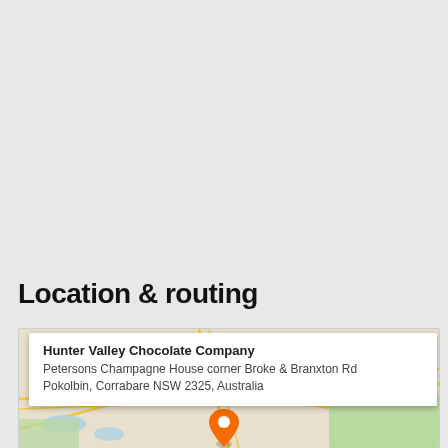Location & routing
[Figure (map): Google Maps view showing location of Hunter Valley Chocolate Company at Petersons Champagne House, corner Broke & Branxton Rd, Pokolbin, Corrabare NSW 2325, Australia. Map shows roads and terrain with an orange map pin marker. A white popup box shows the business name and address. Road 882 label visible. 'Kein' text visible at top right of map.]
Hunter Valley Chocolate Company
Petersons Champagne House corner Broke & Branxton Rd
Pokolbin, Corrabare NSW 2325, Australia